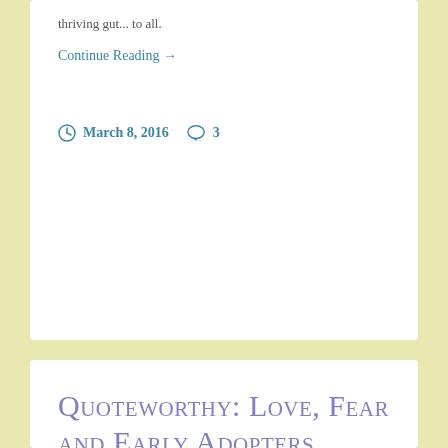thriving gut... to all.
Continue Reading →
March 8, 2016   3
Quoteworthy: Love, Fear and Early Adopters.
"We are the early adopters of a revolution of values." ~ Pancho Ramos-Stierle, Occupy Love, in a YES! Magazine interview. In the Spirit of Cultivating, Being, Embodying, and Spreading the Big Love, Jamie